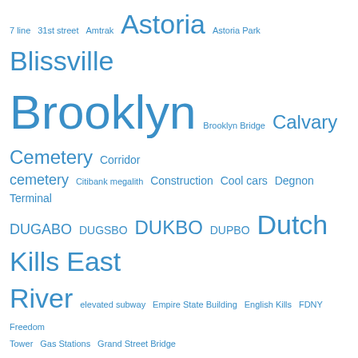[Figure (infographic): Tag cloud of location/place names related to New York City waterways and neighborhoods, rendered in various font sizes in blue. Terms include: 7 line, 31st street, Amtrak, Astoria, Astoria Park, Blissville, Brooklyn, Brooklyn Bridge, Calvary Cemetery, Corridor, cemetery, Citibank megalith, Construction, Cool cars, Degnon Terminal, DUGABO, DUGSBO, DUKBO, DUPBO, Dutch Kills, East River, elevated subway, Empire State Building, English Kills, FDNY, Freedom Tower, Gas Stations, Grand Street Bridge, Greenpoint, H.P. Lovecraft, Hell Gate, Hudson River, Hunters Point, Kill Van Kull, kosciuszko bridge, Long Island City, Long Island Expressway, Long Island Railroad, Manhattan, Manhattan Bridge, Maritime Sunday, Maspeth, Maspeth Avenue Plank Road, newtown creek, Newtown Creek Alliance, New]